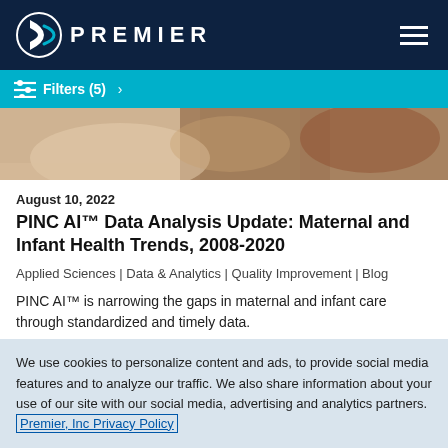PREMIER
Filters (5)  >
[Figure (photo): Close-up photo of a newborn infant being held, maternal and infant health theme]
August 10, 2022
PINC AI™ Data Analysis Update: Maternal and Infant Health Trends, 2008-2020
Applied Sciences | Data & Analytics | Quality Improvement | Blog
PINC AI™ is narrowing the gaps in maternal and infant care through standardized and timely data.
We use cookies to personalize content and ads, to provide social media features and to analyze our traffic. We also share information about your use of our site with our social media, advertising and analytics partners. Premier, Inc Privacy Policy